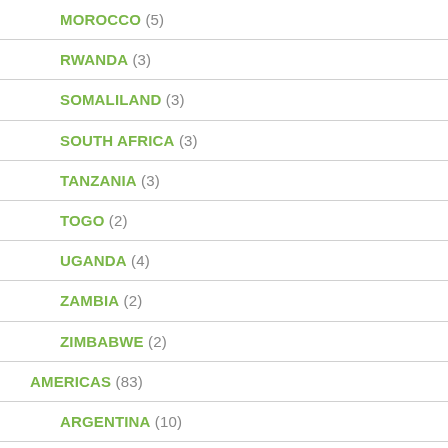MOROCCO (5)
RWANDA (3)
SOMALILAND (3)
SOUTH AFRICA (3)
TANZANIA (3)
TOGO (2)
UGANDA (4)
ZAMBIA (2)
ZIMBABWE (2)
AMERICAS (83)
ARGENTINA (10)
BOLIVIA (7)
BRAZIL (6)
CANADA (26)
CHILE (6)